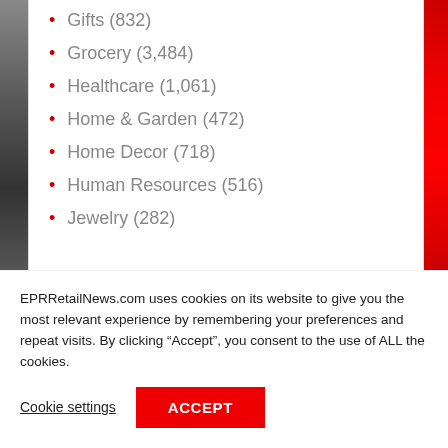Gifts (832)
Grocery (3,484)
Healthcare (1,061)
Home & Garden (472)
Home Decor (718)
Human Resources (516)
Jewelry (282)
EPRRetailNews.com uses cookies on its website to give you the most relevant experience by remembering your preferences and repeat visits. By clicking “Accept”, you consent to the use of ALL the cookies.
Cookie settings | ACCEPT